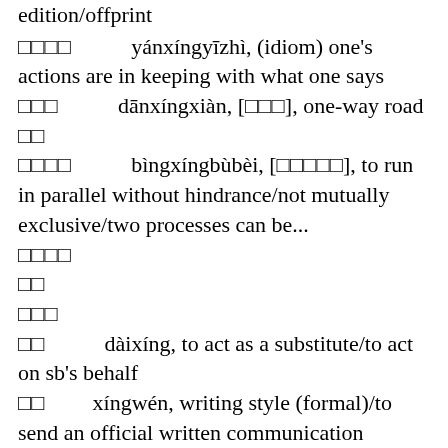edition/offprint
□□□□     yánxíngyīzhì, (idiom) one's actions are in keeping with what one says
□□□     dānxíngxiàn, [□□□], one-way road
□□
□□□□     bìngxíngbùbèi, [□□□□□], to run in parallel without hindrance/not mutually exclusive/two processes can be...
□□□□
□□
□□□
□□     dàixíng, to act as a substitute/to act on sb's behalf
□□     xíngwén, writing style (formal)/to send an official written communication
□□
□□□□     lìngxíngjìnzhǐ, lit. if he orders you go,